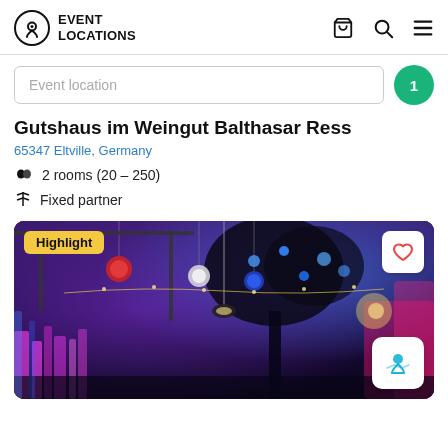EVENT LOCATIONS
Event location
Gutshaus im Weingut Balthasar Ress
65347 Eltville, Germany
2 rooms (20 - 250)
Fixed partner
[Figure (photo): Outdoor event venue at dusk with colorful purple and pink lighting, decorative hanging balls, trees illuminated in blue and red light, string lights, and a pendant lamp. Badge 'Highlight' in yellow top-left. Heart icon top-right. Map pin icon bottom-right.]